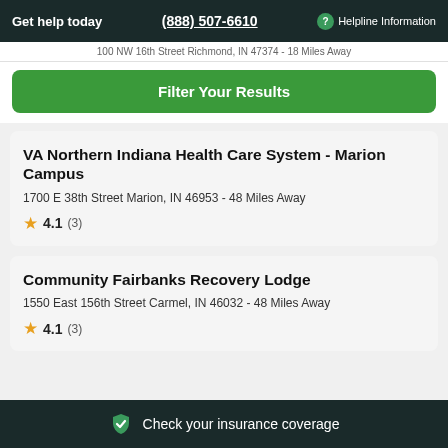Get help today  (888) 507-6610  Helpline Information
100 NW 16th Street Richmond, IN 47374 - 18 Miles Away
Filter Your Results
VA Northern Indiana Health Care System - Marion Campus
1700 E 38th Street Marion, IN 46953 - 48 Miles Away
4.1 (3)
Community Fairbanks Recovery Lodge
1550 East 156th Street Carmel, IN 46032 - 48 Miles Away
4.1 (3)
Check your insurance coverage